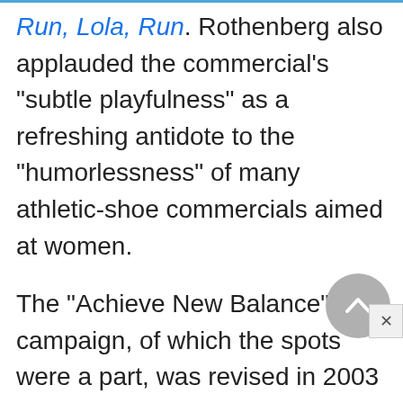Run, Lola, Run. Rothenberg also applauded the commercial's "subtle playfulness" as a refreshing antidote to the "humorlessness" of many athletic-shoe commercials aimed at women.

The "Achieve New Balance" campaign, of which the spots were a part, was revised in 2003 into the "N Is for Fit … N Is for Performance" campaign, which featured new print ads and television spots and emphasized the technical construction